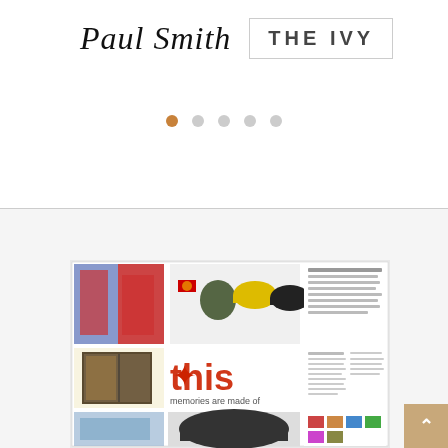[Figure (logo): Paul Smith handwritten script logo on the left, and THE IVY in bold spaced capitals in a light bordered box on the right]
[Figure (other): Pagination dots: 5 dots in a row, first dot active (orange/tan), the rest grey]
[Figure (photo): Magazine page collage showing fashion photos, baseball caps, book/scrapbook images, large red 'this memories are made of' typographic spread, and smaller product images]
[Figure (other): Back to top arrow button, tan/gold square with upward chevron, bottom right corner]